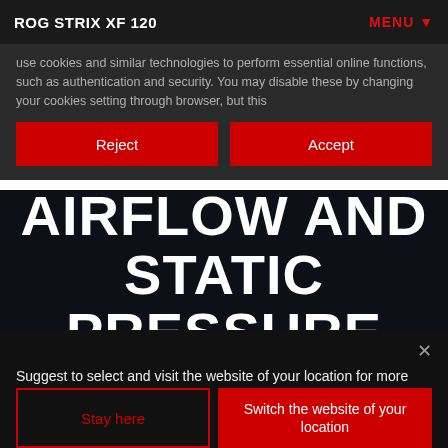ROG STRIX XF 120 | MENU
use cookies and similar technologies to perform essential online functions, such as authentication and security. You may disable these by changing your cookies setting through browser, but this
Reject | Accept
AIRFLOW AND STATIC PRESSURE
Suggest to select and visit the website of your location for more relevant products, promotions and events.
Stay here | Switch the website of your location